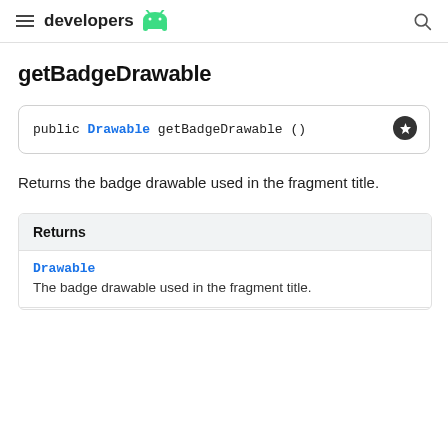developers
getBadgeDrawable
public Drawable getBadgeDrawable ()
Returns the badge drawable used in the fragment title.
| Returns |
| --- |
| Drawable | The badge drawable used in the fragment title. |